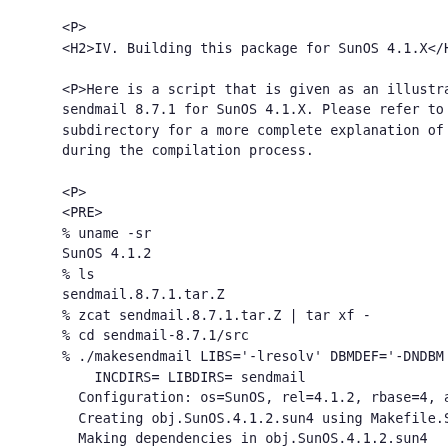<P>
<H2>IV. Building this package for SunOS 4.1.X</H2>

<P>Here is a script that is given as an illustration of building sendmail 8.7.1 for SunOS 4.1.X. Please refer to README files in the src subdirectory for a more complete explanation of options you can specify during the compilation process.

<P>
<PRE>
% uname -sr
SunOS 4.1.2
% ls
sendmail.8.7.1.tar.Z
% zcat sendmail.8.7.1.tar.Z | tar xf -
% cd sendmail-8.7.1/src
% ./makesendmail LIBS='-lresolv' DBMDEF='-DNDBM -
    INCDIRS= LIBDIRS= sendmail
  Configuration: os=SunOS, rel=4.1.2, rbase=4, ar
  Creating obj.SunOS.4.1.2.sun4 using Makefile.Su
  Making dependencies in obj.SunOS.4.1.2.sun4
  Making in obj.SunOS.4.1.2.sun4